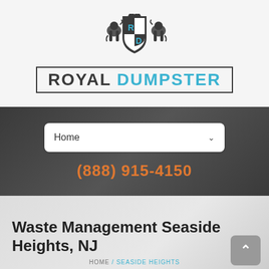[Figure (logo): Royal Dumpster logo with heraldic shield crest flanked by two lions, above text 'ROYAL DUMPSTER' in a bordered box]
Home
(888) 915-4150
Waste Management Seaside Heights, NJ
HOME / SEASIDE HEIGHTS